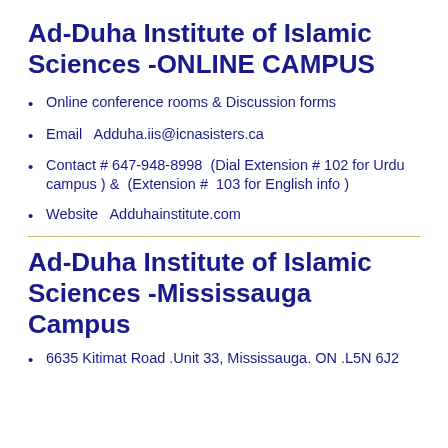Ad-Duha Institute of Islamic Sciences -ONLINE CAMPUS
Online conference rooms & Discussion forms
Email   Adduha.iis@icnasisters.ca
Contact # 647-948-8998  (Dial Extension # 102 for Urdu campus ) &  (Extension #  103 for English info )
Website   Adduhainstitute.com
Ad-Duha Institute of Islamic Sciences -Mississauga Campus
6635 Kitimat Road .Unit 33, Mississauga. ON .L5N 6J2